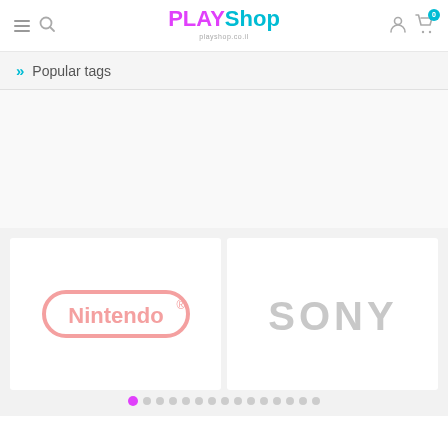PLAYShop - playshop.co.il
» Popular tags
[Figure (logo): Nintendo logo in light pink/salmon color with rounded rectangle border]
[Figure (logo): SONY logo in light gray color]